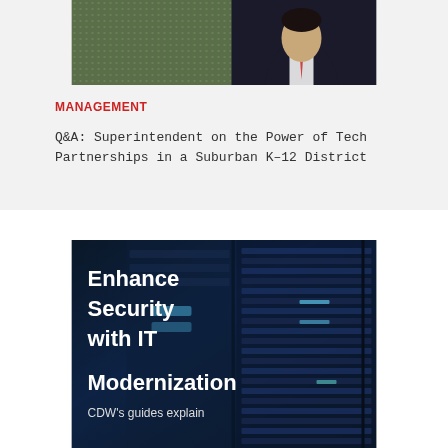[Figure (photo): Partial photo of a man in a suit with a red tie against a textured background, shown from upper body]
MANAGEMENT
Q&A: Superintendent on the Power of Tech Partnerships in a Suburban K–12 District
[Figure (photo): Server rack room in dark blue tones with text overlay reading 'Enhance Security with IT Modernization' and subtitle 'CDW's guides explain']